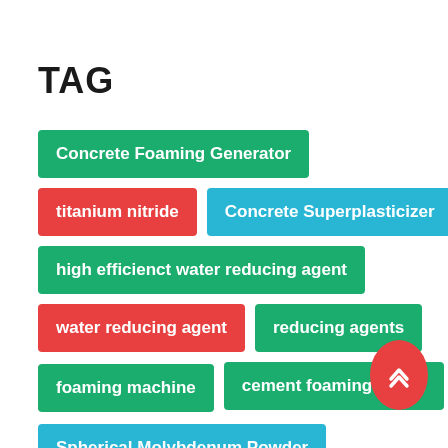TAG
Concrete Foaming Generator
titanium nitride
Concrete Superplasticizer
high efficienct water reducing agent
water reducing agent
reducing agents
foaming machine
cement foaming machi
Spherical Molybdenum Powder